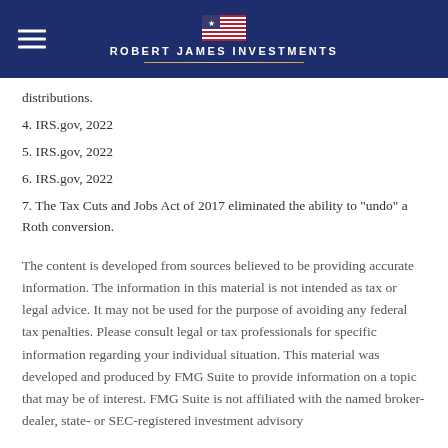[Figure (logo): Robert James Investments logo with American flag and company name on dark navy background]
distributions.
4. IRS.gov, 2022
5. IRS.gov, 2022
6. IRS.gov, 2022
7. The Tax Cuts and Jobs Act of 2017 eliminated the ability to "undo" a Roth conversion.
The content is developed from sources believed to be providing accurate information. The information in this material is not intended as tax or legal advice. It may not be used for the purpose of avoiding any federal tax penalties. Please consult legal or tax professionals for specific information regarding your individual situation. This material was developed and produced by FMG Suite to provide information on a topic that may be of interest. FMG Suite is not affiliated with the named broker-dealer, state- or SEC-registered investment advisory